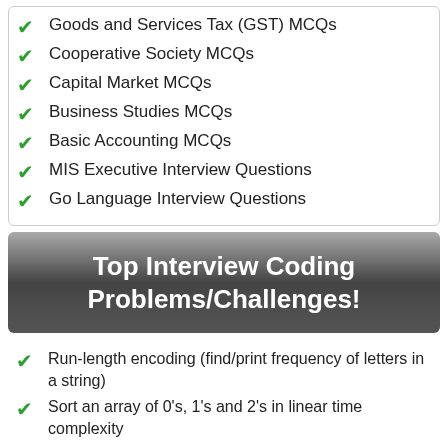Goods and Services Tax (GST) MCQs
Cooperative Society MCQs
Capital Market MCQs
Business Studies MCQs
Basic Accounting MCQs
MIS Executive Interview Questions
Go Language Interview Questions
Top Interview Coding Problems/Challenges!
Run-length encoding (find/print frequency of letters in a string)
Sort an array of 0's, 1's and 2's in linear time complexity
Checking Anagrams (check whether two string is anagrams or not)
Relative sorting algorithm